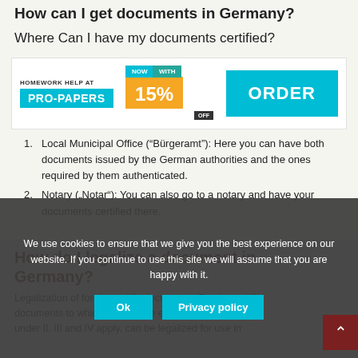How can I get documents in Germany?
Where Can I have my documents certified?
[Figure (infographic): Advertisement banner for Pro-Papers homework help service showing brand name, 15% off promo, and ORDER button]
Local Municipal Office (“Bürgeramt”): Here you can have both documents issued by the German authorities and the ones required by them authenticated.
Notary („Notar“): You can also go to a notary and have your documents certified there.
How do I legalize a document in Germany?
Legalization of foreign public documents. Foreign public documents to which none of the exemptions mentioned under II, III and IV apply, can be legalized for use in
We use cookies to ensure that we give you the best experience on our website. If you continue to use this site we will assume that you are happy with it.
Ok
Privacy policy